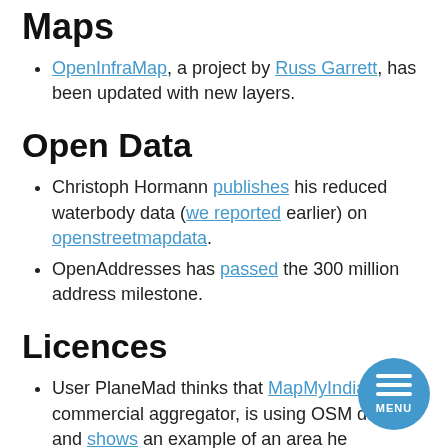Maps
OpenInfraMap, a project by Russ Garrett, has been updated with new layers.
Open Data
Christoph Hormann publishes his reduced waterbody data (we reported earlier) on openstreetmapdata.
OpenAddresses has passed the 300 million address milestone.
Licences
User PlaneMad thinks that MapMyIndia, a commercial aggregator, is using OSM data and shows an example of an area he personally mapped.